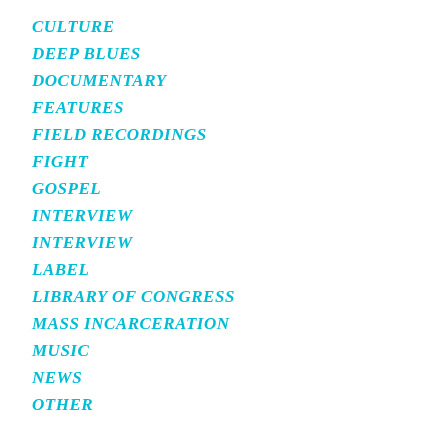CULTURE
DEEP BLUES
DOCUMENTARY
FEATURES
FIELD RECORDINGS
FIGHT
GOSPEL
INTERVIEW
INTERVIEW
LABEL
LIBRARY OF CONGRESS
MASS INCARCERATION
MUSIC
NEWS
OTHER